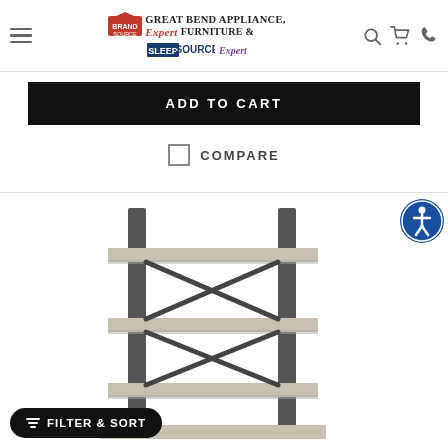[Figure (logo): Great Bend Appliance, Furniture & SleepSource Expert logo with BrandSource badge]
ADD TO CART
COMPARE
[Figure (photo): Industrial-style bookshelf/etagere with gray wood shelves and dark metal X-brace frame, multiple tiers]
FILTER & SORT